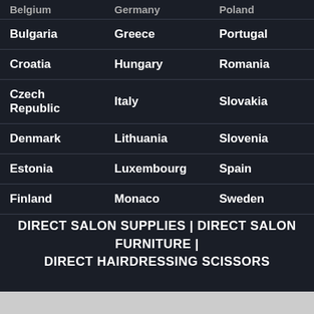| Belgium | Germany | Poland |
| Bulgaria | Greece | Portugal |
| Croatia | Hungary | Romania |
| Czech Republic | Italy | Slovakia |
| Denmark | Lithuania | Slovenia |
| Estonia | Luxembourg | Spain |
| Finland | Monaco | Sweden |
DIRECT SALON SUPPLIES | DIRECT SALON FURNITURE | DIRECT HAIRDRESSING SCISSORS